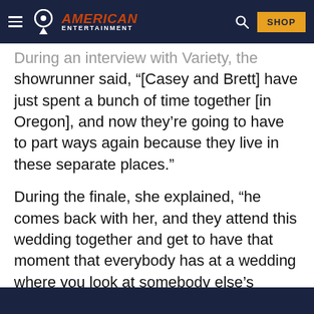AMERICAN ENTERTAINMENT
During an interview with Variety, the showrunner said, “[Casey and Brett] have just spent a bunch of time together [in Oregon], and now they’re going to have to part ways again because they live in these separate places.”
During the finale, she explained, “he comes back with her, and they attend this wedding together and get to have that moment that everybody has at a wedding where you look at somebody else’s relationship. And that makes